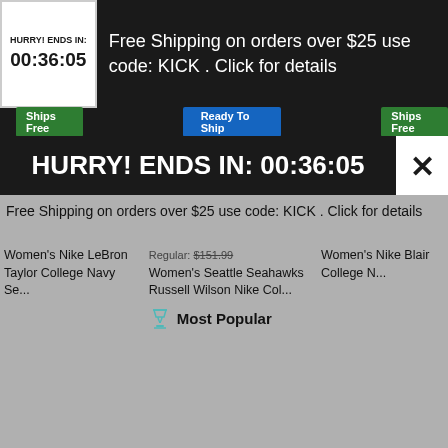HURRY! ENDS IN: 00:36:05
Free Shipping on orders over $25 use code: KICK . Click for details
Ships Free | Ready To Ship | Ships Free
HURRY! ENDS IN: 00:36:05
Free Shipping on orders over $25 use code: KICK . Click for details
Women's Nike LeBron Taylor College Navy Se...
Regular: $151.99
Women's Seattle Seahawks Russell Wilson Nike Col...
Most Popular
Women's Nike Blair College N...
Contact Us
Help
Return Policy
Track My Order